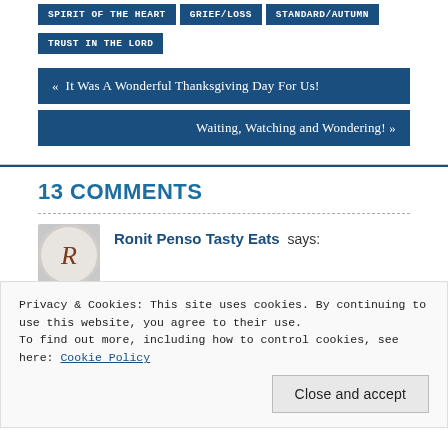SPIRIT OF THE HEART
GRIEF/LOSS
STANDARD/AUTUMN
TRUST IN THE LORD
« It Was A Wonderful Thanksgiving Day For Us!
Waiting, Watching and Wondering! »
13 COMMENTS
Ronit Penso Tasty Eats says:
Privacy & Cookies: This site uses cookies. By continuing to use this website, you agree to their use.
To find out more, including how to control cookies, see here: Cookie Policy
Close and accept